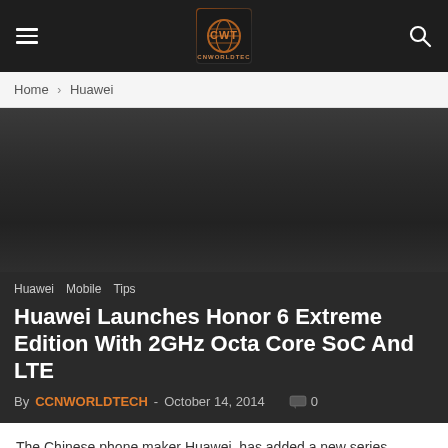CWT [logo] — navigation header with hamburger menu and search icon
Home › Huawei
[Figure (photo): Dark gradient feature image area, dark gray background]
Huawei   Mobile   Tips
Huawei Launches Honor 6 Extreme Edition With 2GHz Octa Core SoC And LTE
By CCNWORLDTECH - October 14, 2014   💬 0
The Chinese phone maker Huawei, has added a new series